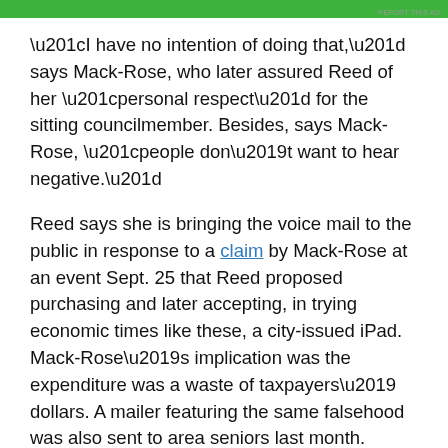[Figure (other): Green advertisement banner at top of page with 'REPORT THIS AD' text]
“I have no intention of doing that,” says Mack-Rose, who later assured Reed of her “personal respect” for the sitting councilmember. Besides, says Mack-Rose, “people don’t want to hear negative.”
Reed says she is bringing the voice mail to the public in response to a claim by Mack-Rose at an event Sept. 25 that Reed proposed purchasing and later accepting, in trying economic times like these, a city-issued iPad. Mack-Rose’s implication was the expenditure was a waste of taxpayers’ dollars. A mailer featuring the same falsehood was also sent to area seniors last month.